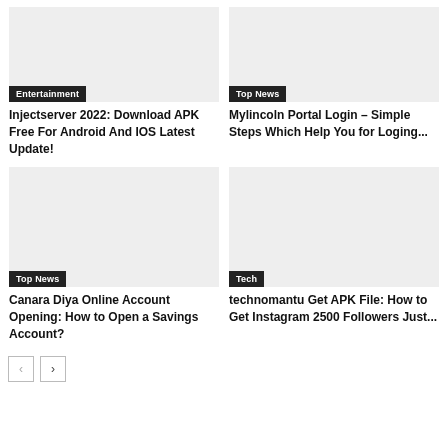[Figure (photo): Gray placeholder image with Entertainment category badge]
Injectserver 2022: Download APK Free For Android And IOS Latest Update!
[Figure (photo): Gray placeholder image with Top News category badge]
Mylincoln Portal Login – Simple Steps Which Help You for Loging...
[Figure (photo): Gray placeholder image with Top News category badge]
Canara Diya Online Account Opening: How to Open a Savings Account?
[Figure (photo): Gray placeholder image with Tech category badge]
technomantu Get APK File: How to Get Instagram 2500 Followers Just...